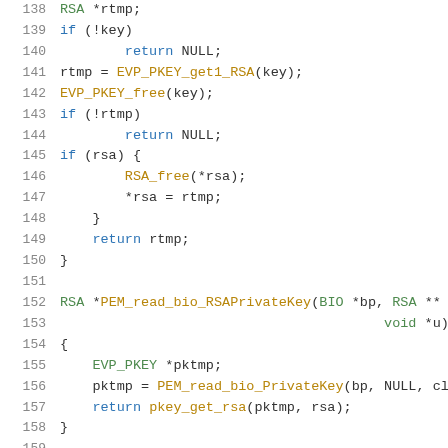Code listing lines 138-158: C source code showing RSA key reading functions including pkey_get_rsa and PEM_read_bio_RSAPrivateKey